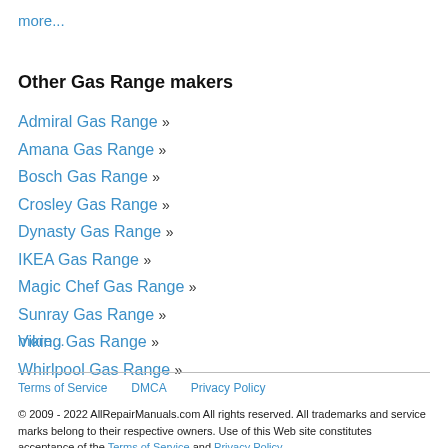more...
Other Gas Range makers
Admiral Gas Range »
Amana Gas Range »
Bosch Gas Range »
Crosley Gas Range »
Dynasty Gas Range »
IKEA Gas Range »
Magic Chef Gas Range »
Sunray Gas Range »
Viking Gas Range »
Whirlpool Gas Range »
more...
Terms of Service   DMCA   Privacy Policy
© 2009 - 2022 AllRepairManuals.com All rights reserved. All trademarks and service marks belong to their respective owners. Use of this Web site constitutes acceptance of the Terms of Service and Privacy Policy.